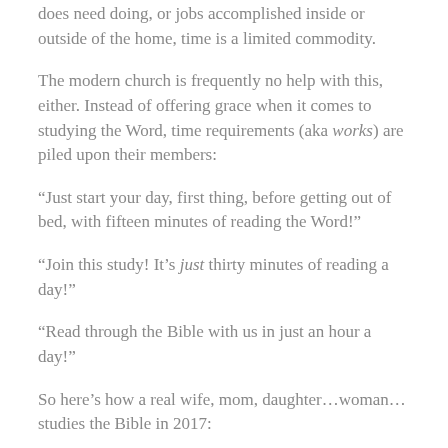does need doing, or jobs accomplished inside or outside of the home, time is a limited commodity.
The modern church is frequently no help with this, either. Instead of offering grace when it comes to studying the Word, time requirements (aka works) are piled upon their members:
“Just start your day, first thing, before getting out of bed, with fifteen minutes of reading the Word!”
“Join this study! It’s just thirty minutes of reading a day!”
“Read through the Bible with us in just an hour a day!”
So here’s how a real wife, mom, daughter…woman… studies the Bible in 2017: